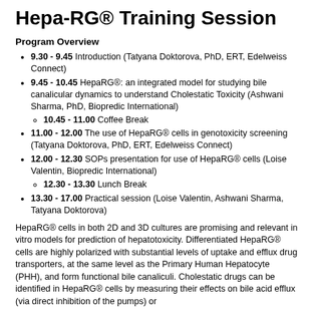Hepa-RG® Training Session
Program Overview
9.30 - 9.45 Introduction (Tatyana Doktorova, PhD, ERT, Edelweiss Connect)
9.45 - 10.45 HepaRG®: an integrated model for studying bile canalicular dynamics to understand Cholestatic Toxicity (Ashwani Sharma, PhD, Biopredic International)
10.45 - 11.00 Coffee Break
11.00 - 12.00 The use of HepaRG® cells in genotoxicity screening (Tatyana Doktorova, PhD, ERT, Edelweiss Connect)
12.00 - 12.30 SOPs presentation for use of HepaRG® cells (Loise Valentin, Biopredic International)
12.30 - 13.30 Lunch Break
13.30 - 17.00 Practical session (Loise Valentin, Ashwani Sharma, Tatyana Doktorova)
HepaRG® cells in both 2D and 3D cultures are promising and relevant in vitro models for prediction of hepatotoxicity. Differentiated HepaRG® cells are highly polarized with substantial levels of uptake and efflux drug transporters, at the same level as the Primary Human Hepatocyte (PHH), and form functional bile canaliculi. Cholestatic drugs can be identified in HepaRG® cells by measuring their effects on bile acid efflux (via direct inhibition of the pumps) or